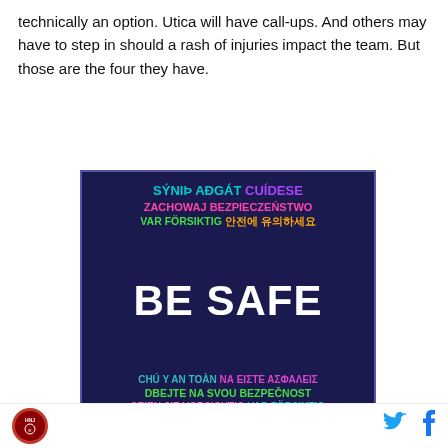technically an option. Utica will have call-ups. And others may have to step in should a rash of injuries impact the team. But those are the four they have.
[Figure (infographic): Dark navy square graphic with multilingual 'BE SAFE' text in various colors: Icelandic (cyan), Irish (teal), Polish (pink), Czech (green), Swedish (green), Korean (orange), Greek (magenta), German (pink), and large white 'BE SAFE' in center.]
It could be argued that, in retrospect, Fitzgerald should
Logo and social media icons (Twitter, Facebook)